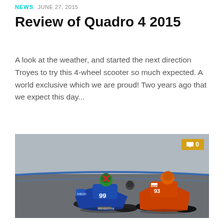NEWS JUNE 27, 2015
Review of Quadro 4 2015
A look at the weather, and started the next direction Troyes to try this 4-wheel scooter so much expected. A world exclusive which we are proud! Two years ago that we expect this day...
[Figure (photo): Two MotoGP riders racing on track, one on a blue/white Yamaha (#99) and one on an orange/red Repsol Honda, leaning through a corner. A third rider is visible in the background. A yellow comment badge shows '0' in the top-right corner of the image.]